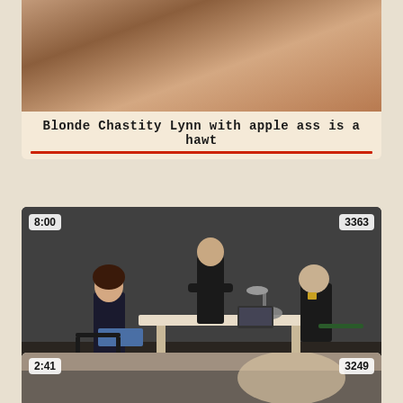[Figure (screenshot): Partially visible video thumbnail card for 'Blonde Chastity Lynn with apple ass is a hawt']
Blonde Chastity Lynn with apple ass is a hawt
[Figure (screenshot): Video thumbnail showing scene with a woman in blue skirt seated and two men in uniform in an office/interrogation room setting. Duration badge: 8:00, view count: 3363]
The Russian Spy
[Figure (screenshot): Partially visible video thumbnail. Duration badge: 2:41, view count: 3249]